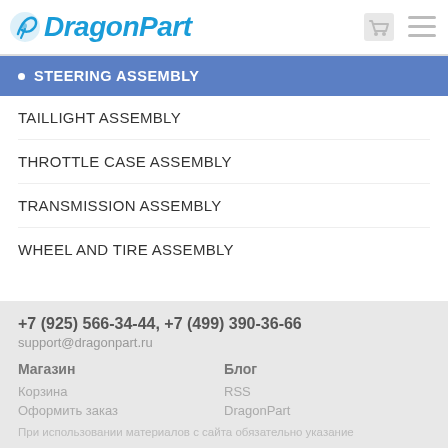DragonPart
STEERING ASSEMBLY
TAILLIGHT ASSEMBLY
THROTTLE CASE ASSEMBLY
TRANSMISSION ASSEMBLY
WHEEL AND TIRE ASSEMBLY
+7 (925) 566-34-44, +7 (499) 390-36-66
support@dragonpart.ru
Магазин | Блог
Корзина | RSS
Оформить заказ | DragonPart
При использовании материалов с сайта обязательно указание